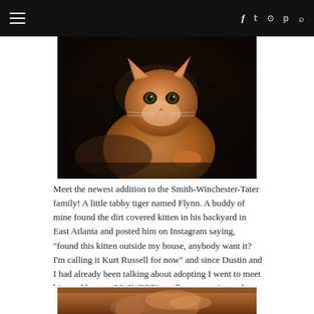☰  f  𝕥  ⊙  𝕡  🔍
[Figure (photo): Close-up photo of an orange and white tabby kitten sitting on dark fabric, looking toward the camera with large eyes. The kitten has striped fur with orange, white, and brown tones.]
Meet the newest addition to the Smith-Winchester-Tater family! A little tabby tiger named Flynn. A buddy of mine found the dirt covered kitten in his backyard in East Atlanta and posted him on Instagram saying, "found this kitten outside my house, anybody want it? I'm calling it Kurt Russell for now" and since Dustin and I had already been talking about adopting I went to meet him and he was SO SWEET! needless to say it was love at first sight and he came home with me and met Dustin who also fell for him and Tater who wasn't as big of a fan but has learned to "love" the little dude in small steps.
[Figure (photo): Partial view of the orange tabby kitten being held by a human hand, showing the kitten's fur and a hand from below.]